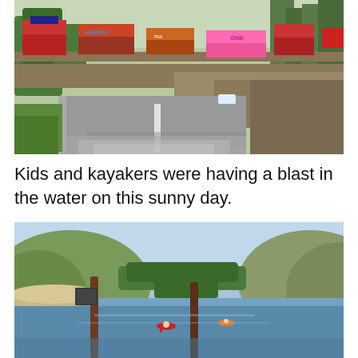[Figure (photo): A road with a freight train carrying stacked shipping containers passing on an elevated track above, surrounded by trees and rocky embankment on a sunny day.]
Kids and kayakers were having a blast in the water on this sunny day.
[Figure (photo): A calm blue lake or river with kayakers on the water, two wooden posts/pilings in the foreground, hills and trees in the background on a sunny day.]